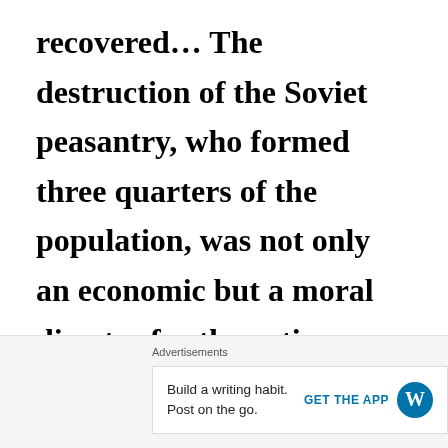recovered... The destruction of the Soviet peasantry, who formed three quarters of the population, was not only an economic but a moral disaster for the entire country. Tens of millions were driven into semi-servitude, and
... . .
Advertisements
Build a writing habit. Post on the go.
GET THE APP